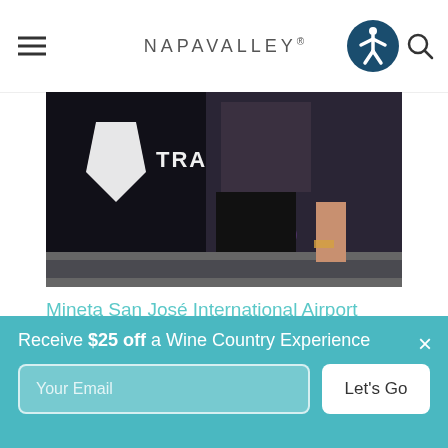NAPAVALLEY®
[Figure (photo): Close-up photo showing a person near a transportation vehicle or sign, with partial text 'TRANSPO' visible on a dark background. Purple floral pattern visible on clothing.]
Mineta San José International Airport (SJC)
1701 Airport Blvd.
San Jose, CA 95110
Wine Country explorers heading to Napa Valley via the San Jose International airport will be greeted with
Receive $25 off a Wine Country Experience